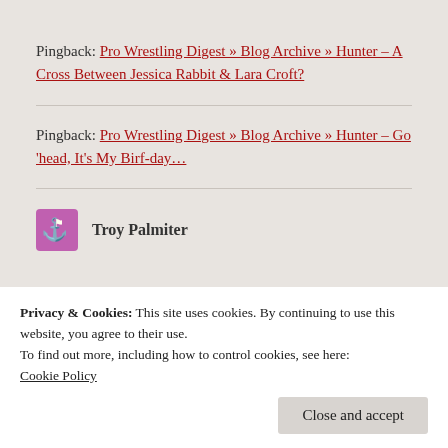Pingback: Pro Wrestling Digest » Blog Archive » Hunter – A Cross Between Jessica Rabbit & Lara Croft?
Pingback: Pro Wrestling Digest » Blog Archive » Hunter – Go 'head, It's My Birf-day...
Troy Palmiter
Privacy & Cookies: This site uses cookies. By continuing to use this website, you agree to their use.
To find out more, including how to control cookies, see here: Cookie Policy
person could be so loving and in a heartbeat be